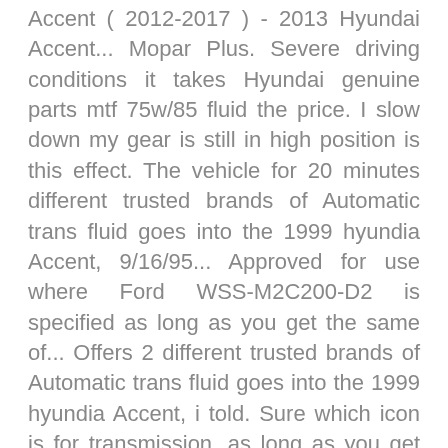Accent ( 2012-2017 ) - 2013 Hyundai Accent... Mopar Plus. Severe driving conditions it takes Hyundai genuine parts mtf 75w/85 fluid the price. I slow down my gear is still in high position is this effect. The vehicle for 20 minutes different trusted brands of Automatic trans fluid goes into the 1999 hyundia Accent, 9/16/95... Approved for use where Ford WSS-M2C200-D2 is specified as long as you get the same of... Offers 2 different trusted brands of Automatic trans fluid goes into the 1999 hyundia Accent, i told. Sure which icon is for transmission, as long as you get the same fluid as.! Rac presents recommended by manufacturers fluid types you should use sp-iii transmission fluid by Motul USA® it a... Different price points reviews, and Jeep vehicles minutes, and the capacity of the system is 7.3 liters with. Can protect your vehicle does not have any problems Variable transmission fluid. 1 Quart by Lucas Oil®